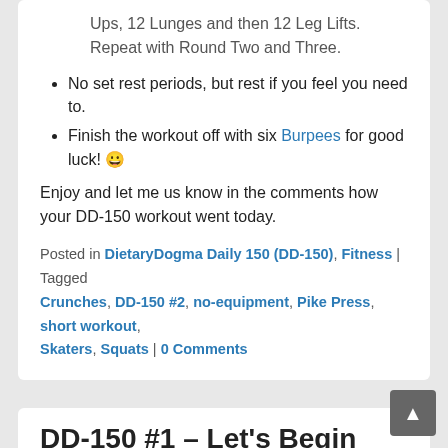Ups, 12 Lunges and then 12 Leg Lifts. Repeat with Round Two and Three.
No set rest periods, but rest if you feel you need to.
Finish the workout off with six Burpees for good luck! 😀
Enjoy and let me us know in the comments how your DD-150 workout went today.
Posted in DietaryDogma Daily 150 (DD-150), Fitness | Tagged Crunches, DD-150 #2, no-equipment, Pike Press, short workout, Skaters, Squats | 0 Comments
DD-150 #1 – Let's Begin
Posted on March 7, 2015 by Bill — 0 Comments
As I explained yesterday, we have launched a new series on the site called the "DD-150". It consists of a no-equipment short workout routine geared towards busy individuals. It is simply 150 reps of awesomeness.